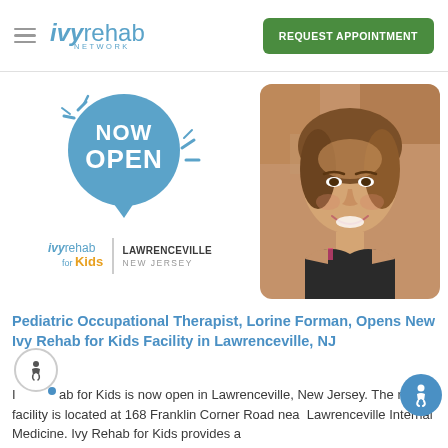Ivy Rehab Network — REQUEST APPOINTMENT
[Figure (logo): Now Open speech bubble graphic with Ivy Rehab for Kids logo and Lawrenceville, New Jersey location text]
[Figure (photo): Smiling woman with brown hair wearing black sleeveless top, posed outdoors against rocky background]
Pediatric Occupational Therapist, Lorine Forman, Opens New Ivy Rehab for Kids Facility in Lawrenceville, NJ
Ivy Rehab for Kids is now open in Lawrenceville, New Jersey. The new facility is located at 168 Franklin Corner Road near Lawrenceville Internal Medicine. Ivy Rehab for Kids provides a